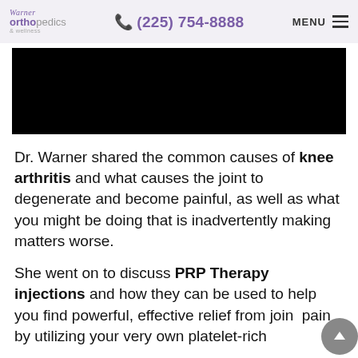Warner Orthopedics & Wellness | (225) 754-8888 | MENU
[Figure (photo): Black hero image banner at top of article page]
Dr. Warner shared the common causes of knee arthritis and what causes the joint to degenerate and become painful, as well as what you might be doing that is inadvertently making matters worse.
She went on to discuss PRP Therapy injections and how they can be used to help you find powerful, effective relief from joint pain by utilizing your very own platelet-rich